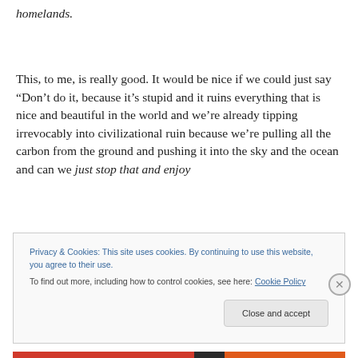homelands.
This, to me, is really good. It would be nice if we could just say “Don’t do it, because it’s stupid and it ruins everything that is nice and beautiful in the world and we’re already tipping irrevocably into civilizational ruin because we’re pulling all the carbon from the ground and pushing it into the sky and the ocean and can we just stop that and enjoy
Privacy & Cookies: This site uses cookies. By continuing to use this website, you agree to their use.
To find out more, including how to control cookies, see here: Cookie Policy
Close and accept